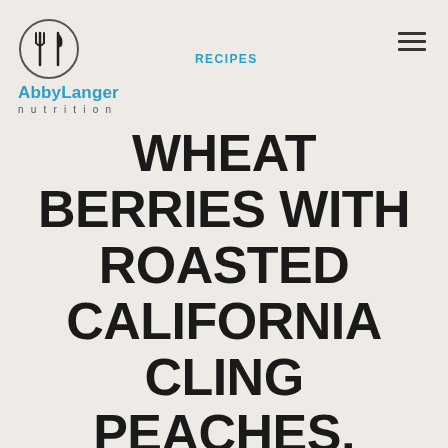[Figure (logo): Abby Langer Nutrition logo: circle with crossed fork and knife icon, with text 'AbbyLanger nutrition' below]
RECIPES
WHEAT BERRIES WITH ROASTED CALIFORNIA CLING PEACHES, SQUASH, AND FETA
By Abby Langer • February 24, 2015